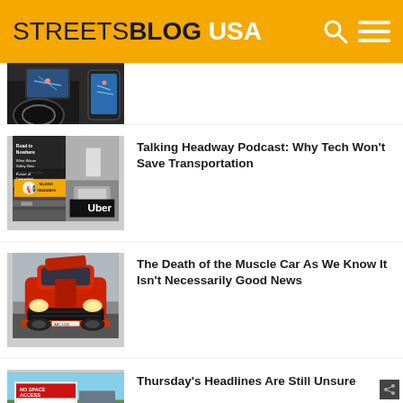STREETSBLOG USA
[Figure (photo): Car interior dashboard with navigation screen]
[Figure (photo): Talking Headway Podcast collage with Silicon Valley transportation imagery and Uber]
Talking Headway Podcast: Why Tech Won’t Save Transportation
[Figure (photo): Red muscle car (Dodge Challenger) from front view]
The Death of the Muscle Car As We Know It Isn’t Necessarily Good News
[Figure (photo): Protest sign reading SYSTEM CHANGE NOT...]
Thursday’s Headlines Are Still Unsure